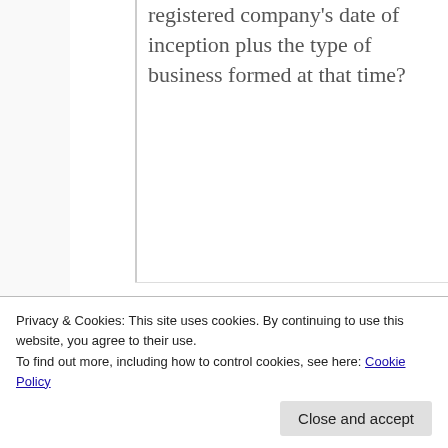registered company's date of inception plus the type of business formed at that time?
Gertrude P Kilepak (Mrs)
November 10,
Privacy & Cookies: This site uses cookies. By continuing to use this website, you agree to their use.
To find out more, including how to control cookies, see here: Cookie Policy